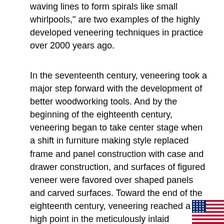waving lines to form spirals like small whirlpools," are two examples of the highly developed veneering techniques in practice over 2000 years ago.
In the seventeenth century, veneering took a major step forward with the development of better woodworking tools. And by the beginning of the eighteenth century, veneering began to take center stage when a shift in furniture making style replaced frame and panel construction with case and drawer construction, and surfaces of figured veneer were favored over shaped panels and carved surfaces. Toward the end of the eighteenth century, veneering reached a high point in the meticulously inlaid neoclassical furniture of designers like George Hepplewhite and Thomas Sheraton. It was in the nineteenth century that veneering started to develop a bad reputation when some furniture manufacturers were using veneer mainly as a method of covering badly constructed furniture. By the middle of the 1800s, commercial furniture producers in America had grown into factory-type operations that weren't reliant on skilled cabinetmakers, and veneer w
[Figure (illustration): American flag icon in bottom right corner]